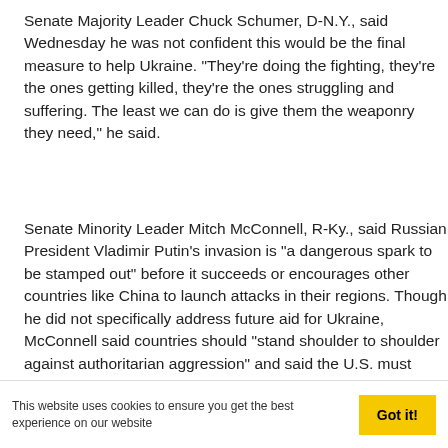Senate Majority Leader Chuck Schumer, D-N.Y., said Wednesday he was not confident this would be the final measure to help Ukraine. "They're doing the fighting, they're the ones getting killed, they're the ones struggling and suffering. The least we can do is give them the weaponry they need," he said.
Senate Minority Leader Mitch McConnell, R-Ky., said Russian President Vladimir Putin's invasion is "a dangerous spark to be stamped out" before it succeeds or encourages other countries like China to launch attacks in their regions. Though he did not specifically address future aid for Ukraine, McConnell said countries should "stand shoulder to shoulder against authoritarian aggression" and said the U.S. must
This website uses cookies to ensure you get the best experience on our website